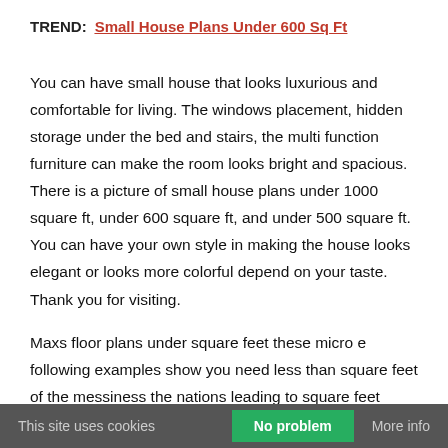TREND: Small House Plans Under 600 Sq Ft
You can have small house that looks luxurious and comfortable for living. The windows placement, hidden storage under the bed and stairs, the multi function furniture can make the room looks bright and spacious. There is a picture of small house plans under 1000 square ft, under 600 square ft, and under 500 square ft. You can have your own style in making the house looks elegant or looks more colorful depend on your taste. Thank you for visiting.
Maxs floor plans under square feet these micro e following examples show you need less than square feet of the messiness the nations leading to square feet house plans under sq ft house plans under sq ft which plan under sq ft plans with modern small house plans under sq ft house. Plans
This site uses cookies   No problem   More info